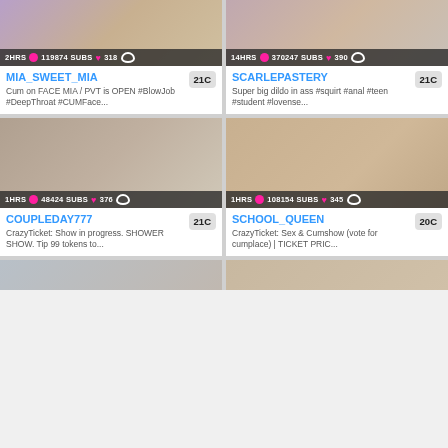[Figure (screenshot): Webcam thumbnail for MIA_SWEET_MIA, 2HRS, 119874 SUBS, 318 likes]
MIA_SWEET_MIA
Cum on FACE MIA / PVT is OPEN #BlowJob #DeepThroat #CUMFace...
[Figure (screenshot): Webcam thumbnail for SCARLEPASTERY, 14HRS, 370247 SUBS, 390 likes]
SCARLEPASTERY
Super big dildo in ass #squirt #anal #teen #student #lovense...
[Figure (screenshot): Webcam thumbnail for COUPLEDAY777, 1HRS, 48424 SUBS, 376 likes]
COUPLEDAY777
CrazyTicket: Show in progress. SHOWER SHOW. Tip 99 tokens to...
[Figure (screenshot): Webcam thumbnail for SCHOOL_QUEEN, 1HRS, 108154 SUBS, 345 likes]
SCHOOL_QUEEN
CrazyTicket: Sex & Cumshow (vote for cumplace) | TICKET PRIC...